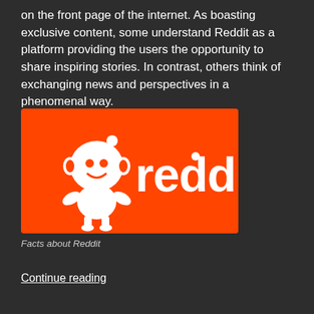on the front page of the internet. As boasting exclusive content, some understand Reddit as a platform providing the users the opportunity to share inspiring stories. In contrast, others think of exchanging news and perspectives in a phenomenal way.
[Figure (logo): Reddit logo: orange rectangle background with white Reddit alien mascot (Snoo) on the left and white 'reddit' lowercase text on the right]
Facts about Reddit
Continue reading